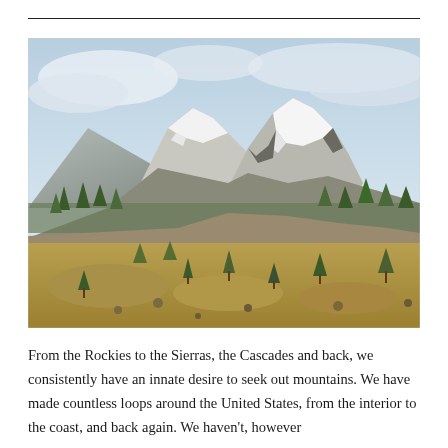[Figure (photo): Landscape photograph of a snow-capped volcanic mountain (resembling Mount St. Helens) rising above a valley with scattered trees, small ponds, and yellow-green meadows in the foreground under a partly cloudy sky.]
From the Rockies to the Sierras, the Cascades and back, we consistently have an innate desire to seek out mountains. We have made countless loops around the United States, from the interior to the coast, and back again. We haven't, however